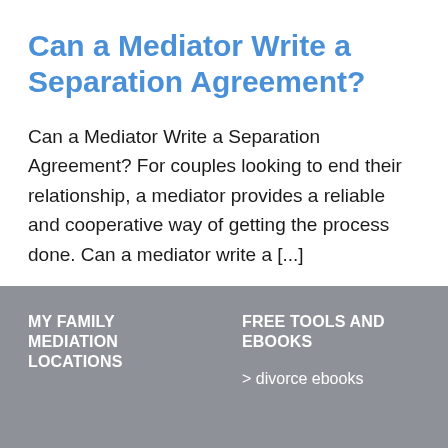Can a Mediator Write a Separation Agreement?
Can a Mediator Write a Separation Agreement? For couples looking to end their relationship, a mediator provides a reliable and cooperative way of getting the process done. Can a mediator write a [...]
MY FAMILY MEDIATION LOCATIONS
FREE TOOLS AND EBOOKS
> divorce ebooks